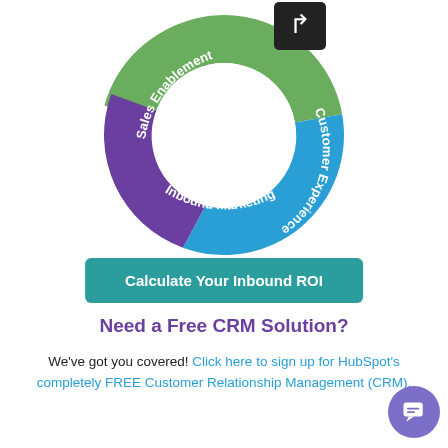[Figure (infographic): Circular donut diagram divided into three colored segments: green (Sales Enablement, upper-left), blue (Customer Experience, upper-right), purple (Inbound Marketing, bottom). A black square with a white right-turn arrow icon appears in the upper-right corner.]
[Figure (infographic): Teal/green rounded rectangle button reading 'Calculate Your Inbound ROI']
Need a Free CRM Solution?
We've got you covered! Click here to sign up for HubSpot's completely FREE Customer Relationship Management (CRM).